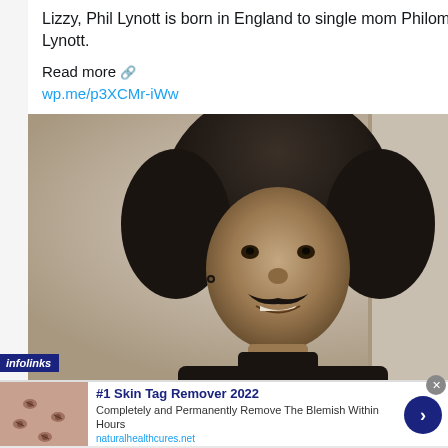Lizzy, Phil Lynott is born in England to single mom Philomena Lynott.
Read more 🔗
wp.me/p3XCMr-iWw
[Figure (photo): Black and white photo of Phil Lynott with large afro hair and mustache, wearing a dark turtleneck, smiling at camera]
4 (likes)
You Retweeted
infolinks
#1 Skin Tag Remover 2022
Completely and Permanently Remove The Blemish Within Hours
naturalhealthcures.net
[Figure (photo): Advertisement image showing skin tags on skin]